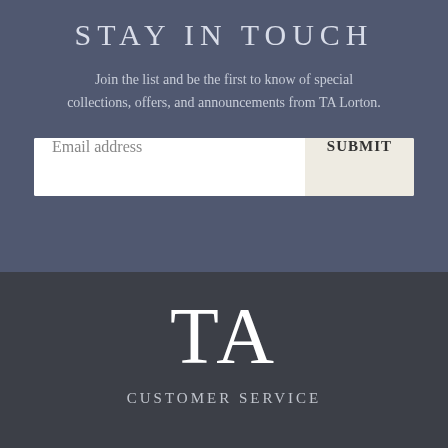STAY IN TOUCH
Join the list and be the first to know of special collections, offers, and announcements from TA Lorton.
[Figure (other): Email address input field with SUBMIT button]
[Figure (logo): TA logo monogram in large serif font]
CUSTOMER SERVICE